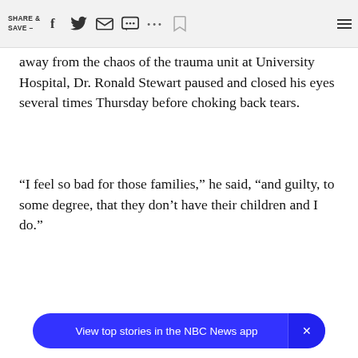SHARE & SAVE — [social icons: Facebook, Twitter, Email, Chat, More, Bookmark, Menu]
away from the chaos of the trauma unit at University Hospital, Dr. Ronald Stewart paused and closed his eyes several times Thursday before choking back tears.
“I feel so bad for those families,” he said, “and guilty, to some degree, that they don’t have their children and I do.”
[Figure (screenshot): App download banner: 'View top stories in the NBC News app' with a blue rounded rectangle background and an X close button on the right.]